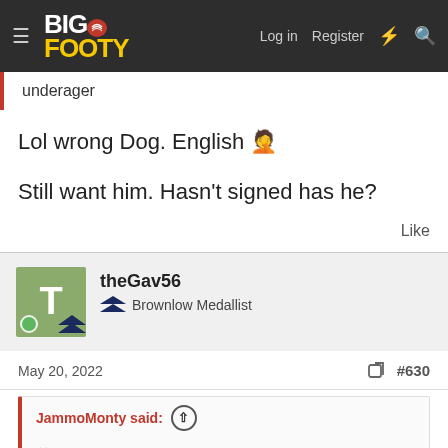BigFooty — Log in | Register
underager
Lol wrong Dog. English 🤦
Still want him. Hasn't signed has he?
Like
theGav56
Brownlow Medallist
May 20, 2022
#630
JammoMonty said: